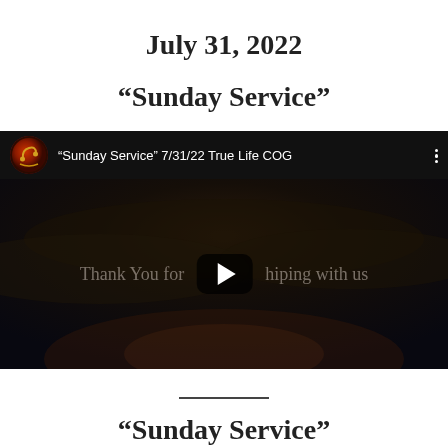July 31, 2022
“Sunday Service”
[Figure (screenshot): YouTube video embed showing 'Sunday Service' 7/31/22 True Life COG with a dark cloudy sky background thumbnail and a play button overlay. Text reads 'Thank You for [worshipping] with us'.]
“Sunday Service”